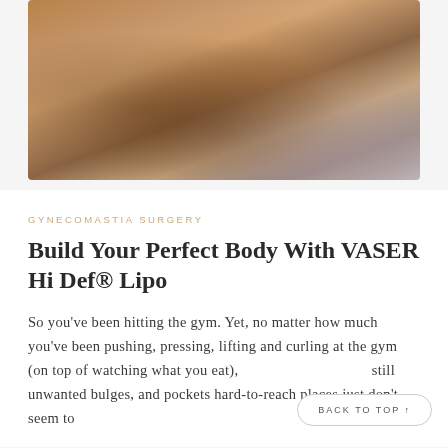[Figure (photo): Muscular shirtless male torso showing defined abdominal and chest muscles against a light grey background]
GYNECOMASTIA SURGERY
Build Your Perfect Body With VASER Hi Def® Lipo
So you've been hitting the gym. Yet, no matter how much you've been pushing, pressing, lifting and curling at the gym (on top of watching what you eat), still unwanted bulges, and pockets hard-to-reach places just don't seem to
BACK TO TOP ↑